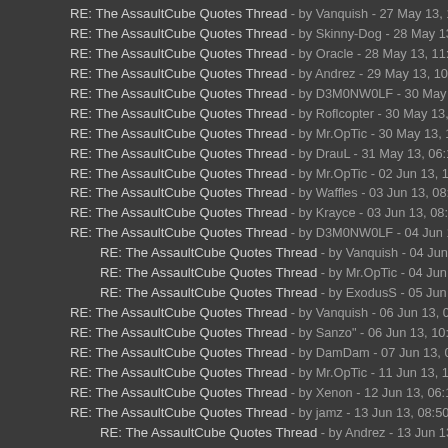RE: The AssaultCube Quotes Thread - by Vanquish - 27 May 13, 11:45PM
RE: The AssaultCube Quotes Thread - by Skinny-Dog - 28 May 13, 03:02AM
RE: The AssaultCube Quotes Thread - by Oracle - 28 May 13, 11:42PM
RE: The AssaultCube Quotes Thread - by Andrez - 29 May 13, 10:39AM
RE: The AssaultCube Quotes Thread - by D3M0NW0LF - 30 May 13, 11:06PM
RE: The AssaultCube Quotes Thread - by Roflcopter - 30 May 13, 11:07PM
RE: The AssaultCube Quotes Thread - by Mr.OpTic - 30 May 13, 11:10PM
RE: The AssaultCube Quotes Thread - by DrauL - 31 May 13, 06:14AM
RE: The AssaultCube Quotes Thread - by Mr.OpTic - 02 Jun 13, 11:24PM
RE: The AssaultCube Quotes Thread - by Waffles - 03 Jun 13, 08:05PM
RE: The AssaultCube Quotes Thread - by Krayce - 03 Jun 13, 08:49PM
RE: The AssaultCube Quotes Thread - by D3M0NW0LF - 04 Jun 13, 05:20AM
RE: The AssaultCube Quotes Thread - by Vanquish - 04 Jun 13, 11:08AM
RE: The AssaultCube Quotes Thread - by Mr.OpTic - 04 Jun 13, 02:06PM
RE: The AssaultCube Quotes Thread - by ExodusS - 05 Jun 13, 07:30PM
RE: The AssaultCube Quotes Thread - by Vanquish - 06 Jun 13, 06:18PM
RE: The AssaultCube Quotes Thread - by Sanzo" - 06 Jun 13, 10:25PM
RE: The AssaultCube Quotes Thread - by DamDam - 07 Jun 13, 08:38AM
RE: The AssaultCube Quotes Thread - by Mr.OpTic - 11 Jun 13, 10:18PM
RE: The AssaultCube Quotes Thread - by Xenon - 12 Jun 13, 06:19PM
RE: The AssaultCube Quotes Thread - by jamz - 13 Jun 13, 08:50PM
RE: The AssaultCube Quotes Thread - by Andrez - 13 Jun 13, 09:09PM
RE: The AssaultCube Quotes Thread - by aarmaageedoon - 13 Jun 13, 09:2
RE: The AssaultCube Quotes Thread - by Marti - 14 Jun 13, 11:03PM
RE: The AssaultCube Quotes Thread - by Friteq - 13 Jun 13, 09:35PM